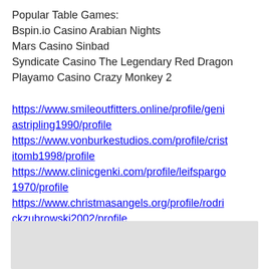Popular Table Games:
Bspin.io Casino Arabian Nights
Mars Casino Sinbad
Syndicate Casino The Legendary Red Dragon
Playamo Casino Crazy Monkey 2
https://www.smileoutfitters.online/profile/geniastripling1990/profile https://www.vonburkestudios.com/profile/cristiitomb1998/profile https://www.clinicgenki.com/profile/leifspargo1970/profile https://www.christmasangels.org/profile/rodrickzubrowski2002/profile
[Figure (other): Light gray footer bar with a back-to-top button (upward arrow icon)]